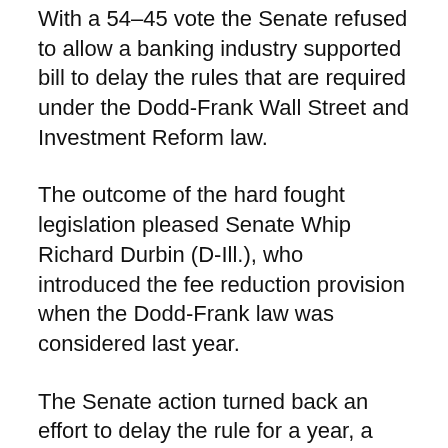With a 54-45 vote the Senate refused to allow a banking industry supported bill to delay the rules that are required under the Dodd-Frank Wall Street and Investment Reform law.
The outcome of the hard fought legislation pleased Senate Whip Richard Durbin (D-Ill.), who introduced the fee reduction provision when the Dodd-Frank law was considered last year.
The Senate action turned back an effort to delay the rule for a year, a proposal that was introduced by Sens. Jon Tester (D-Mont.) and Bob Croker (R-Tenn.)